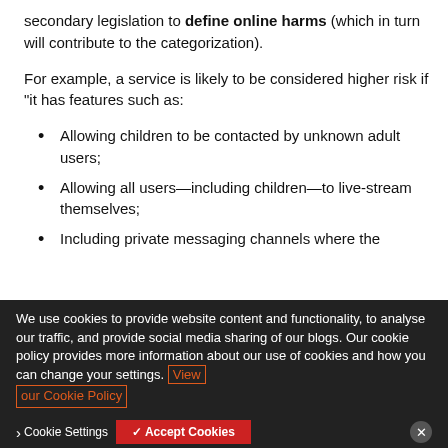secondary legislation to define online harms (which in turn will contribute to the categorization).
For example, a service is likely to be considered higher risk if “it has features such as:
Allowing children to be contacted by unknown adult users;
Allowing all users—including children—to live-stream themselves;
Including private messaging channels where the content on those private channels is not or cannot
We use cookies to provide website content and functionality, to analyse our traffic, and provide social media sharing of our blogs. Our cookie policy provides more information about our use of cookies and how you can change your settings. View our Cookie Policy
ns that will impo... companies